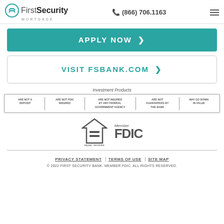First Security Mortgage | (866) 706.1163
APPLY NOW >
VISIT FSBANK.COM >
[Figure (infographic): Investment Products disclaimer box with five columns: ARE NOT A DEPOSIT | ARE NOT FDIC INSURED | ARE NOT INSURED BY ANY FEDERAL GOVERNMENT AGENCY | ARE NOT GUARANTEED BY THE BANK | MAY GO DOWN IN VALUE]
[Figure (logo): Equal Housing Lender logo and Member FDIC logo side by side]
PRIVACY STATEMENT | TERMS OF USE | SITE MAP
© 2022 FIRST SECURITY BANK. MEMBER FDIC. ALL RIGHTS RESERVED.